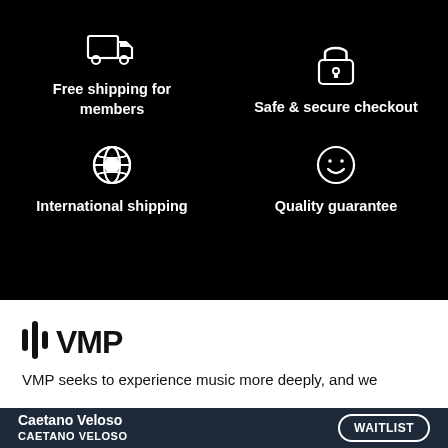[Figure (infographic): Two icons with labels on black background, top row: truck icon with 'Free shipping for members', lock icon with 'Safe & secure checkout']
[Figure (infographic): Two icons with labels on black background, bottom row: globe icon with 'International shipping', smiley face icon with 'Quality guarantee']
[Figure (logo): VMP logo with vertical bar waveform and VMP text in black on white background]
VMP seeks to experience music more deeply, and we
Caetano Veloso
CAETANO VELOSO
WAITLIST